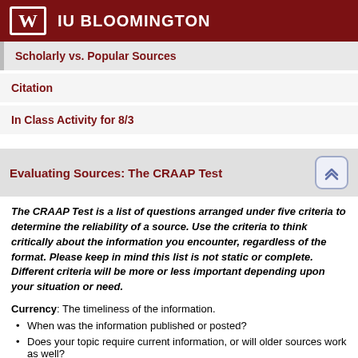IU BLOOMINGTON
Scholarly vs. Popular Sources
Citation
In Class Activity for 8/3
Evaluating Sources: The CRAAP Test
The CRAAP Test is a list of questions arranged under five criteria to determine the reliability of a source. Use the criteria to think critically about the information you encounter, regardless of the format. Please keep in mind this list is not static or complete. Different criteria will be more or less important depending upon your situation or need.
Currency: The timeliness of the information.
When was the information published or posted?
Does your topic require current information, or will older sources work as well?